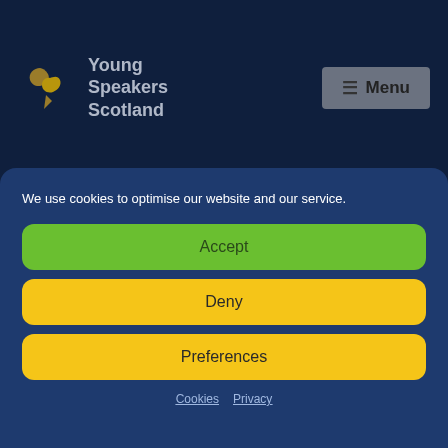[Figure (logo): Young Speakers Scotland logo — golden intertwined leaf/speech-bubble icon with text 'Young Speakers Scotland' in grey]
≡ Menu
We use cookies to optimise our website and our service.
Accept
Deny
Preferences
Cookies  Privacy